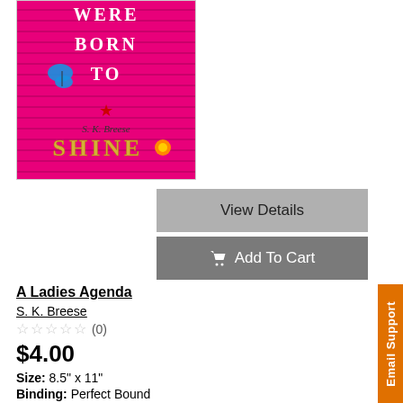[Figure (photo): Book cover for 'A Ladies Agenda' by S.K. Breese. Hot pink background with white text reading 'WERE BORN TO' and 'SHINE' in decorative letters. Blue butterfly sticker and orange flower decoration visible.]
View Details
Add To Cart
A Ladies Agenda
S. K. Breese
☆☆☆☆☆ (0)
$4.00
Size: 8.5" x 11"
Binding: Perfect Bound